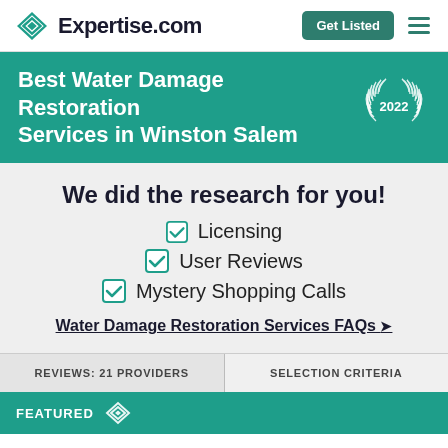Expertise.com | Get Listed
Best Water Damage Restoration Services in Winston Salem 2022
We did the research for you!
Licensing
User Reviews
Mystery Shopping Calls
Water Damage Restoration Services FAQs →
REVIEWS: 21 PROVIDERS
SELECTION CRITERIA
FEATURED